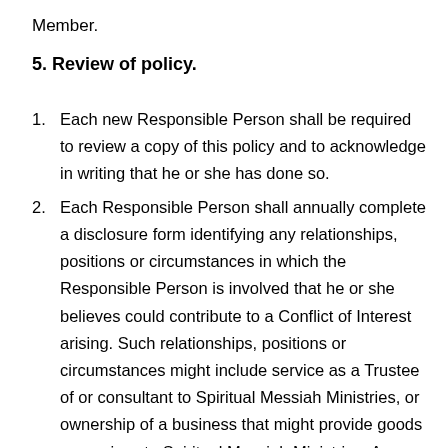Member.
5. Review of policy.
Each new Responsible Person shall be required to review a copy of this policy and to acknowledge in writing that he or she has done so.
Each Responsible Person shall annually complete a disclosure form identifying any relationships, positions or circumstances in which the Responsible Person is involved that he or she believes could contribute to a Conflict of Interest arising. Such relationships, positions or circumstances might include service as a Trustee of or consultant to Spiritual Messiah Ministries, or ownership of a business that might provide goods or services to Spiritual Messiah Ministries. Any such information regarding business interests of a